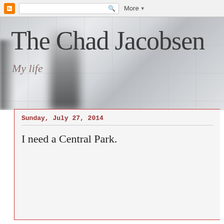Blogger | Search | More
The Chad Jacobsen
My life
Sunday,  July 27,  2014
I need a Central Park.
[Figure (photo): Aerial photograph of Manhattan with Central Park visible, showing surrounding skyscrapers and urban grid]